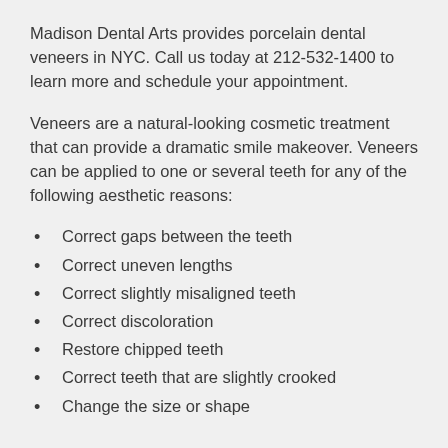Madison Dental Arts provides porcelain dental veneers in NYC. Call us today at 212-532-1400 to learn more and schedule your appointment.
Veneers are a natural-looking cosmetic treatment that can provide a dramatic smile makeover. Veneers can be applied to one or several teeth for any of the following aesthetic reasons:
Correct gaps between the teeth
Correct uneven lengths
Correct slightly misaligned teeth
Correct discoloration
Restore chipped teeth
Correct teeth that are slightly crooked
Change the size or shape